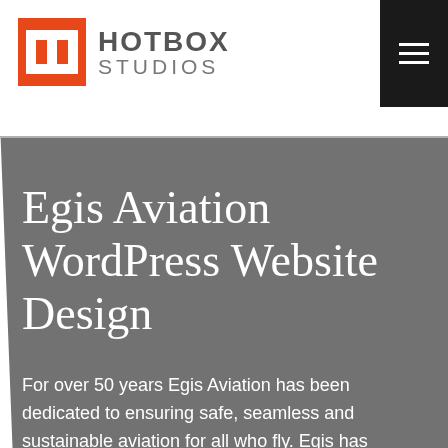HOTBOX STUDIOS
Egis Aviation WordPress Website Design
For over 50 years Egis Aviation has been dedicated to ensuring safe, seamless and sustainable aviation for all who fly. Egis has provided innovative consultancy, design and engineering solutions to institutions,